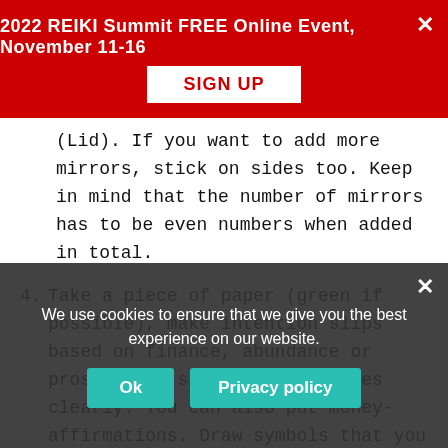2022 REIKI Summit FREE Online Event, November 11-16
SIGN UP
(Lid). If you want to add more mirrors, stick on sides too. Keep in mind that the number of mirrors has to be even numbers when added in total.
4. Take a piece of paper (green if possible), make intention slips based on finance, abundance or prosperity, stating your wishes clearly. You can also put money-affirmations. Draw symbols that you are
5. Add the fol...money in the box. Citrine, Aventurine, Such, Jew...
We use cookies to ensure that we give you the best experience on our website.